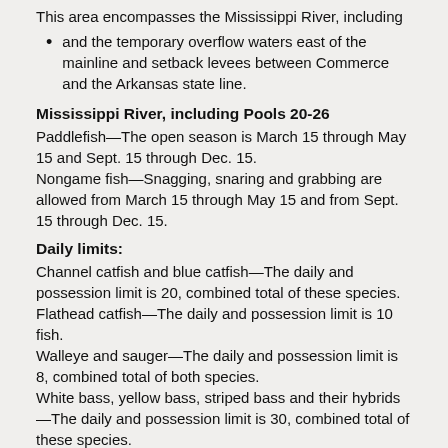This area encompasses the Mississippi River, including
and the temporary overflow waters east of the mainline and setback levees between Commerce and the Arkansas state line.
Mississippi River, including Pools 20-26
Paddlefish—The open season is March 15 through May 15 and Sept. 15 through Dec. 15.
Nongame fish—Snagging, snaring and grabbing are allowed from March 15 through May 15 and from Sept. 15 through Dec. 15.
Daily limits:
Channel catfish and blue catfish—The daily and possession limit is 20, combined total of these species.
Flathead catfish—The daily and possession limit is 10 fish.
Walleye and sauger—The daily and possession limit is 8, combined total of both species.
White bass, yellow bass, striped bass and their hybrids—The daily and possession limit is 30, combined total of these species.
Nongame fish—The daily and possession limit is 100.